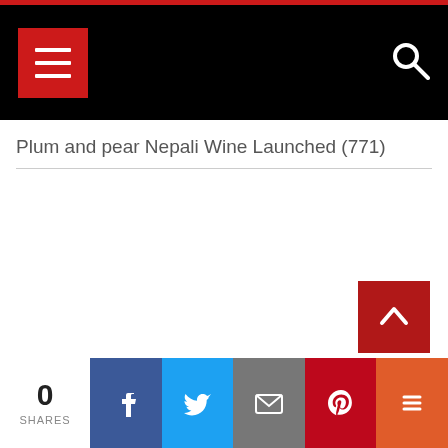Navigation header with hamburger menu and search icon
Plum and pear Nepali Wine Launched (771)
0 SHARES
[Figure (infographic): Social share bar with Facebook, Twitter, Email, Pinterest, and More buttons]